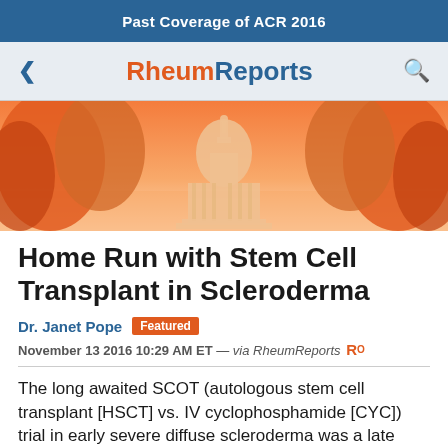Past Coverage of ACR 2016
[Figure (logo): RheumReports navigation bar with back arrow, logo, and search icon]
[Figure (illustration): Orange-toned hero image showing a cityscape with Capitol building silhouette and trees]
Home Run with Stem Cell Transplant in Scleroderma
Dr. Janet Pope  Featured
November 13 2016 10:29 AM ET — via RheumReports
The long awaited SCOT (autologous stem cell transplant [HSCT] vs. IV cyclophosphamide [CYC]) trial in early severe diffuse scleroderma was a late